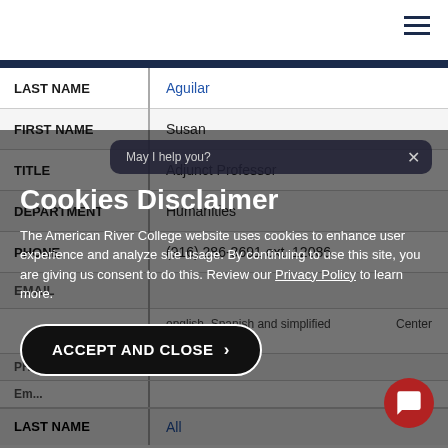American River College faculty directory page with hamburger menu icon
| Field | Value |
| --- | --- |
| LAST NAME | Aguilar |
| FIRST NAME | Susan |
| TITLE | Adjunct Professor |
| DEPARTMENT | Humanities |
| PHONE | (916) 286-3691 ext. 12086 |
| EMAIL |  |
| LAST NAME | All |
Cookies Disclaimer
The American River College website uses cookies to enhance user experience and analyze site usage. By continuing to use this site, you are giving us consent to do this. Review our Privacy Policy to learn more.
ACCEPT AND CLOSE
May I help you?
english, Spanish and simplified Chinese. What ...ke to know?
Center
PHO...
Ema...